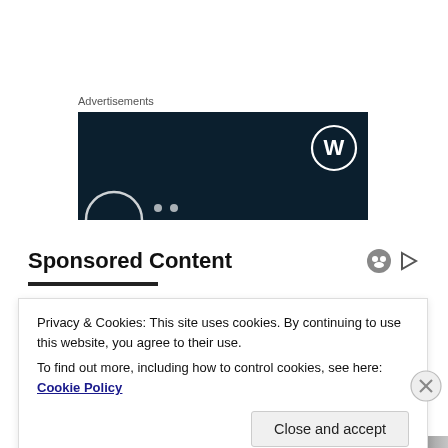Advertisements
[Figure (screenshot): Dark navy blue advertisement banner with WordPress logo (circular W icon) in top right, a partial white circle at bottom left, and small white dots]
Sponsored Content
Privacy & Cookies: This site uses cookies. By continuing to use this website, you agree to their use.
To find out more, including how to control cookies, see here: Cookie Policy
Close and accept